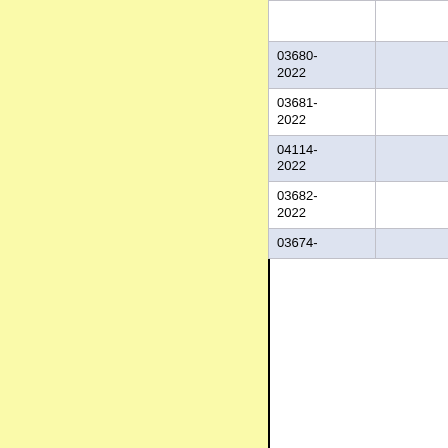| Code | Value |
| --- | --- |
|  |  |
| 03680-2022 |  |
| 03681-2022 |  |
| 04114-2022 |  |
| 03682-2022 |  |
| 03674- |  |